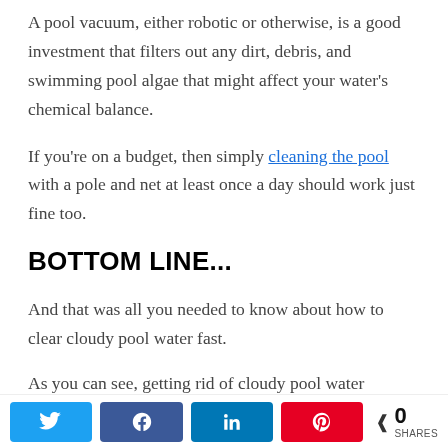A pool vacuum, either robotic or otherwise, is a good investment that filters out any dirt, debris, and swimming pool algae that might affect your water's chemical balance.
If you're on a budget, then simply cleaning the pool with a pole and net at least once a day should work just fine too.
BOTTOM LINE...
And that was all you needed to know about how to clear cloudy pool water fast.
As you can see, getting rid of cloudy pool water
[Figure (infographic): Social share bar with Twitter, Facebook, LinkedIn, Pinterest buttons and a share count showing 0 SHARES]